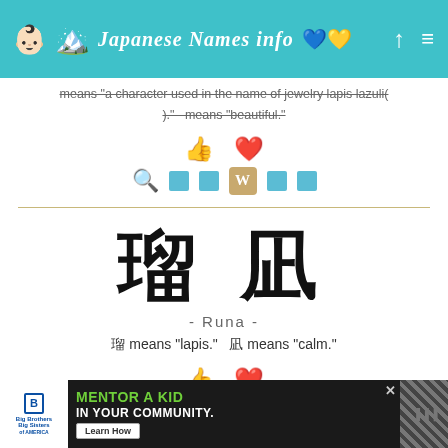Japanese Names info
means "a character used in the name of jewelry lapis lazuli(瑠璃)."  means "beautiful."
[Figure (other): Thumbs up and heart reaction icons]
[Figure (other): Search, blue squares, Wikipedia W icon, blue squares row]
瑠 凪
- Runa -
瑠 means "lapis."  凪 means "calm."
[Figure (other): Thumbs up and heart reaction icons]
[Figure (other): Search, blue squares, Wikipedia W icon, blue squares row]
[Figure (other): Big Brothers Big Sisters advertisement banner - MENTOR A KID IN YOUR COMMUNITY with Learn How button]